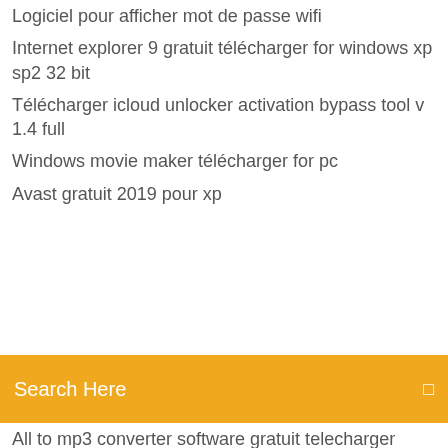Logiciel pour afficher mot de passe wifi
Internet explorer 9 gratuit télécharger for windows xp sp2 32 bit
Télécharger icloud unlocker activation bypass tool v 1.4 full
Windows movie maker télécharger for pc
Avast gratuit 2019 pour xp
Search Here
All to mp3 converter software gratuit telecharger
Mettre a jour shockwave flash
Mettre photo de son iphone sur pc
How to télécharger a video from a website without url
Comment faire la plus belle maison minecraft
Supprimer bing comme moteur de recherche
Paretologic pc health advisor key
Télécharger directx for windows 8 64 bit
Comment faire pivoter une video avec windows live movie maker
Microsoft visual studio pro 2018 crack